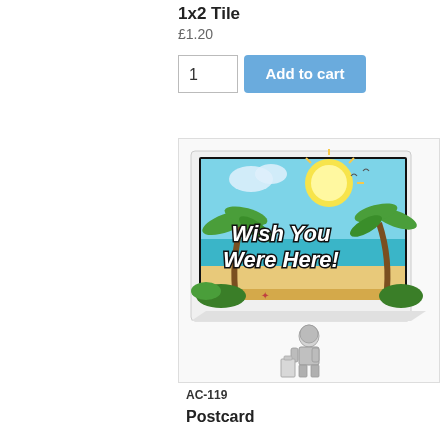1x2 Tile
£1.20
1
Add to cart
[Figure (photo): LEGO 1x2 tile with a beach postcard design showing palm trees, ocean, sun, and text 'Wish You Were Here!', displayed next to a minifigure for scale]
AC-119
Postcard